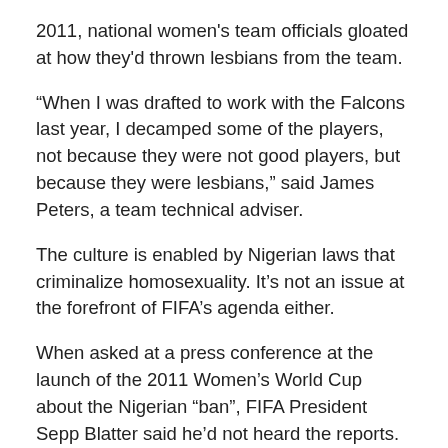2011, national women's team officials gloated at how they'd thrown lesbians from the team.
“When I was drafted to work with the Falcons last year, I decamped some of the players, not because they were not good players, but because they were lesbians,” said James Peters, a team technical adviser.
The culture is enabled by Nigerian laws that criminalize homosexuality. It’s not an issue at the forefront of FIFA’s agenda either.
When asked at a press conference at the launch of the 2011 Women’s World Cup about the Nigerian “ban”, FIFA President Sepp Blatter said he’d not heard the reports. This suggests either willful ignorance or someone, somewhere, within FIFA not doing their job apprising Herr